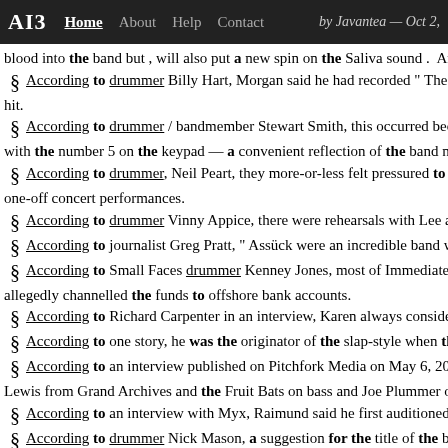AI3  Home  About  Help  Contact  by Javantea — Oct 2,
blood into the band but , will also put a new spin on the Saliva sound .  Amaru
According to drummer Billy Hart, Morgan said he had recorded " The Side hit.
According to drummer / bandmember Stewart Smith, this occurred because with the number 5 on the keypad — a convenient reflection of the band name.
According to drummer, Neil Peart, they more-or-less felt pressured to perf one-off concert performances.
According to drummer Vinny Appice, there were rehearsals with Lee and D
According to journalist Greg Pratt, " Assück were an incredible band with p
According to Small Faces drummer Kenney Jones, most of Immediate's ass allegedly channelled the funds to offshore bank accounts.
According to Richard Carpenter in an interview, Karen always considered
According to one story, he was the originator of the slap-style when the dr
According to an interview published on Pitchfork Media on May 6, 2009, ' Lewis from Grand Archives and the Fruit Bats on bass and Joe Plummer of Mod
According to an interview with Myx, Raimund said he first auditioned as b
According to drummer Nick Mason, a suggestion for the title of the box se
According to Pink Floyd drummer Nick Mason's book Inside Out: A Perso their 1977 performances because the band, unknown to the venue's owners, use Different Ones )" and firework displays on " Sheep " and " Money ").
According to drummer Sam Fogarino, the band is going on a hiatus and pu